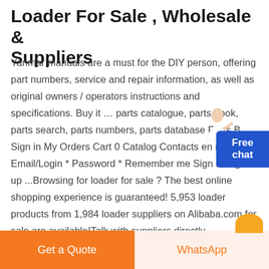Loader For Sale , Wholesale & Suppliers
Yanmar manuals are a must for the DIY person, offering part numbers, service and repair information, as well as original owners / operators instructions and specifications. Buy it ... parts catalogue, parts book, parts search, parts numbers, parts database Parts B... Sign in My Orders Cart 0 Catalog Contacts en ru Sign in Email/Login * Password * Remember me Sign in Sign up ...Browsing for loader for sale ? The best online shopping experience is guaranteed! 5,953 loader products from 1,984 loader suppliers on Alibaba.com for sale are available!Talk with suppliers directly
[Figure (other): Customer service representative avatar / illustration in top right of text area]
[Figure (other): Blue 'Free chat' button widget on the right side]
[Figure (other): Orange/yellow semicircle in the bottom right corner]
Get a Quote
WhatsApp